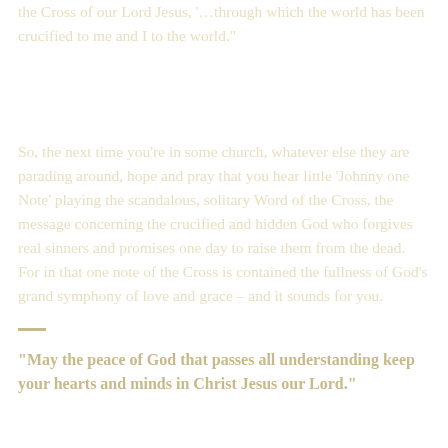the Cross of our Lord Jesus, '…through which the world has been crucified to me and I to the world.'
So, the next time you're in some church, whatever else they are parading around, hope and pray that you hear little 'Johnny one Note' playing the scandalous, solitary Word of the Cross, the message concerning the crucified and hidden God who forgives real sinners and promises one day to raise them from the dead. For in that one note of the Cross is contained the fullness of God's grand symphony of love and grace – and it sounds for you.
—
"May the peace of God that passes all understanding keep your hearts and minds in Christ Jesus our Lord."